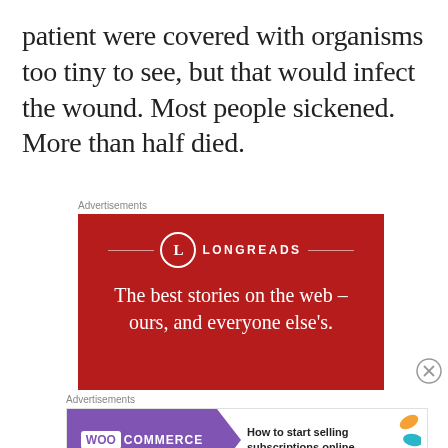patient were covered with organisms too tiny to see, but that would infect the wound. Most people sickened. More than half died.
[Figure (other): Longreads advertisement banner with red background. Shows the Longreads logo (circle with L) and tagline: The best stories on the web – ours, and everyone else's.]
[Figure (other): WooCommerce advertisement banner showing logo on purple background with arrow, and text: How to start selling subscriptions online]